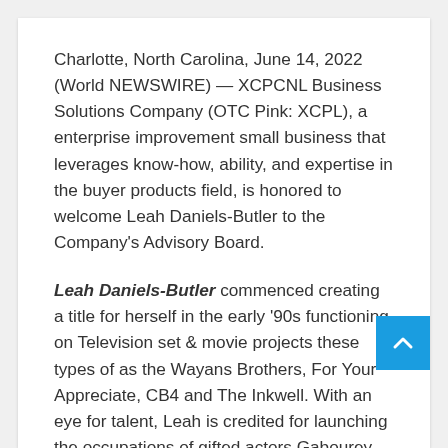Charlotte, North Carolina, June 14, 2022 (World NEWSWIRE) — XCPCNL Business Solutions Company (OTC Pink: XCPL), a enterprise improvement small business that leverages know-how, ability, and expertise in the buyer products field, is honored to welcome Leah Daniels-Butler to the Company's Advisory Board.
Leah Daniels-Butler commenced creating a title for herself in the early '90s functioning on Television set & movie projects these types of as the Wayans Brothers, For Your Appreciate, CB4 and The Inkwell. With an eye for talent, Leah is credited for launching the occupations of gifted actors Gabourey Sidibe, star of the Academy Award